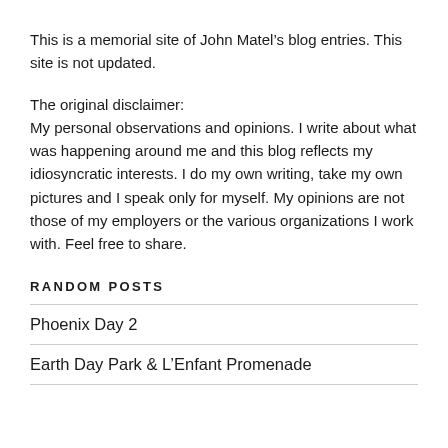This is a memorial site of John Matel’s blog entries. This site is not updated.
The original disclaimer:
My personal observations and opinions. I write about what was happening around me and this blog reflects my idiosyncratic interests. I do my own writing, take my own pictures and I speak only for myself. My opinions are not those of my employers or the various organizations I work with. Feel free to share.
RANDOM POSTS
Phoenix Day 2
Earth Day Park & L’Enfant Promenade